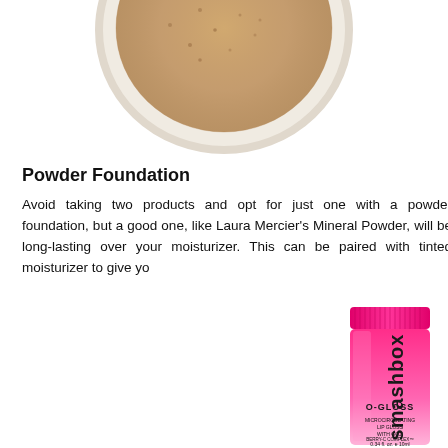[Figure (photo): Top-down view of an open powder foundation compact with tan/beige mineral powder, partially cropped at top of page]
Powder Foundation
Avoid taking two products and opt for just one with a powder foundation, but a good one, like Laura Mercier's Mineral Powder, will be long-lasting over your moisturizer. This can be paired with tinted moisturizer to give yo
[Figure (photo): Smashbox O-Gloss Microcirculating Lip Gloss with Goji Berry-C Complex tube, bright pink gradient color, 0.34 fl. oz. / 10ml, shown at lower right of page]